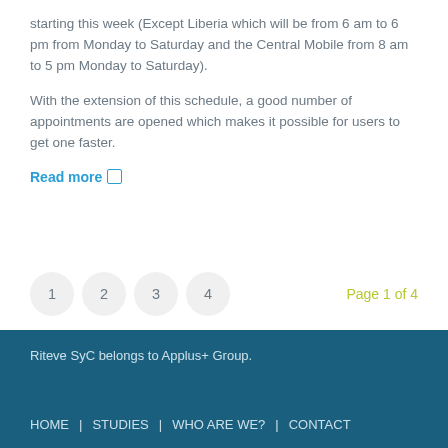starting this week (Except Liberia which will be from 6 am to 6 pm from Monday to Saturday and the Central Mobile from 8 am to 5 pm Monday to Saturday).
With the extension of this schedule, a good number of appointments are opened which makes it possible for users to get one faster.
Read more ▷
1 2 3 4   Page 1 of 4
Riteve SyC belongs to Applus+ Group.
HOME | STUDIES | WHO ARE WE? | CONTACT